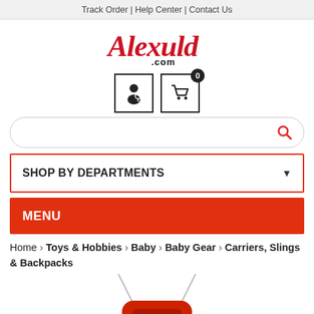Track Order | Help Center | Contact Us
[Figure (logo): Alexuld.com logo in red cursive script]
[Figure (other): Account icon and shopping cart icon with 0 badge]
[Figure (other): Search bar with red magnifying glass icon]
SHOP BY DEPARTMENTS
MENU
Home > Toys & Hobbies > Baby > Baby Gear > Carriers, Slings & Backpacks
[Figure (photo): Partial product photo showing red baby carrier handle]